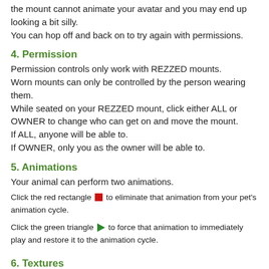the mount cannot animate your avatar and you may end up looking a bit silly.
You can hop off and back on to try again with permissions.
4. Permission
Permission controls only work with REZZED mounts.
Worn mounts can only be controlled by the person wearing them.
While seated on your REZZED mount, click either ALL or OWNER to change who can get on and move the mount.
If ALL, anyone will be able to.
If OWNER, only you as the owner will be able to.
5. Animations
Your animal can perform two animations.
Click the red rectangle [red] to eliminate that animation from your pet's animation cycle.
Click the green triangle [green] to force that animation to immediately play and restore it to the animation cycle.
6. Textures